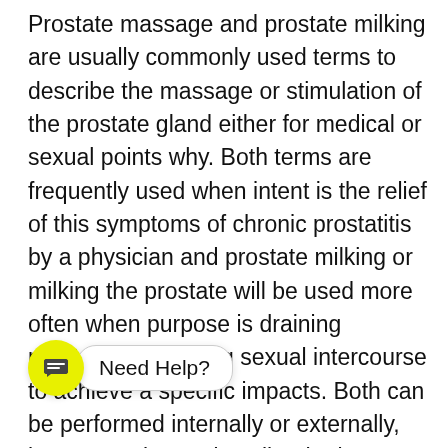Prostate massage and prostate milking are usually commonly used terms to describe the massage or stimulation of the prostate gland either for medical or sexual points why. Both terms are frequently used when intent is the relief of this symptoms of chronic prostatitis by a physician and prostate milking or milking the prostate will be used more often when purpose is draining prostatic fluid during sexual intercourse to achieve a specific impacts. Both can be performed internally or externally, but I am going to describe the inner technique on this page.

What I favor about massaging recliners is this : they po__a __arding programs. Many manufacturers have integrated the common massage